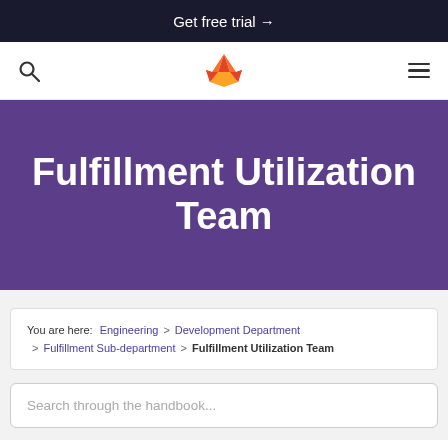Get free trial →
[Figure (logo): GitLab fox logo in orange/red color, navigation bar with search icon and hamburger menu]
Fulfillment Utilization Team
You are here: Engineering > Development Department > Fulfillment Sub-department > Fulfillment Utilization Team
Search through the handbook...